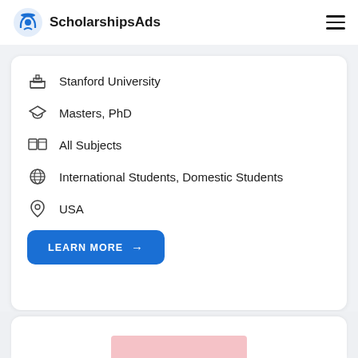ScholarshipsAds
Stanford University
Masters, PhD
All Subjects
International Students, Domestic Students
USA
LEARN MORE →